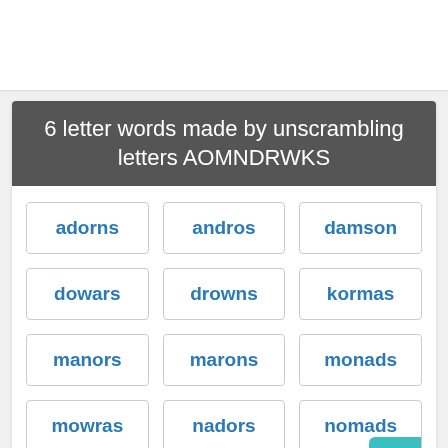[Figure (other): Advertisement banner area (white background)]
6 letter words made by unscrambling letters AOMNDRWKS
adorns
andros
damson
dowars
drowns
kormas
manors
marons
monads
mowras
nadors
nomads
normas
onward
radons